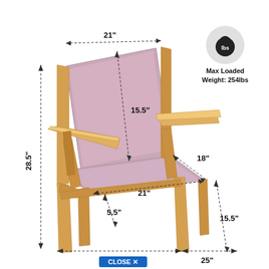[Figure (engineering-diagram): Mid-century modern accent chair with wooden frame and pink/mauve upholstery shown in perspective view with dimension annotations: overall height 28.5 inches, overall width 27 inches, overall depth 25 inches, back width 21 inches, back height 15.5 inches, seat width 21 inches, seat depth 18 inches, seat height 5.5 inches, leg height 15.5 inches. A weight capacity badge shows Max Loaded Weight: 254lbs.]